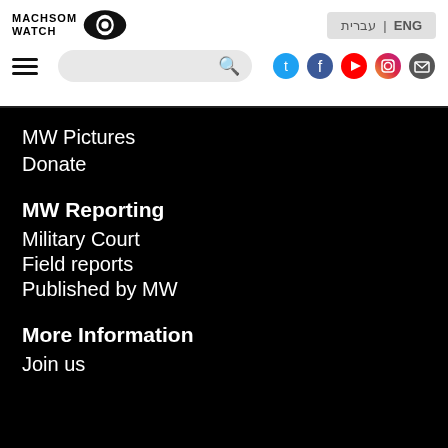[Figure (logo): Machsom Watch logo with eye icon]
עברית | ENG
[Figure (screenshot): Navigation bar with hamburger menu, search bar, and social media icons (Twitter, Facebook, YouTube, Instagram, Email)]
MW Pictures
Donate
MW Reporting
Military Court
Field reports
Published by MW
More Information
Join us